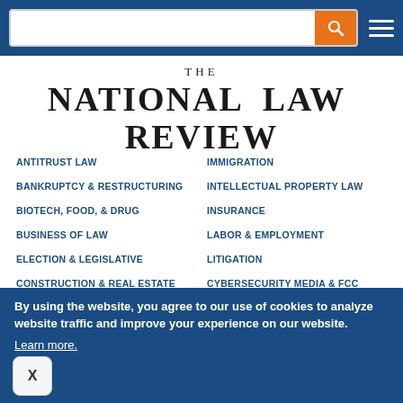The National Law Review - header with search bar and navigation menu
THE NATIONAL LAW REVIEW
ANTITRUST LAW
IMMIGRATION
BANKRUPTCY & RESTRUCTURING
INTELLECTUAL PROPERTY LAW
BIOTECH, FOOD, & DRUG
INSURANCE
BUSINESS OF LAW
LABOR & EMPLOYMENT
ELECTION & LEGISLATIVE
LITIGATION
CONSTRUCTION & REAL ESTATE
CYBERSECURITY MEDIA & FCC
ENVIRONMENTAL & ENERGY
PUBLIC SERVICES, INFRASTRUCTURE, TRANSPORTATION
FAMILY, ESTATES & TRUSTS
By using the website, you agree to our use of cookies to analyze website traffic and improve your experience on our website. Learn more.